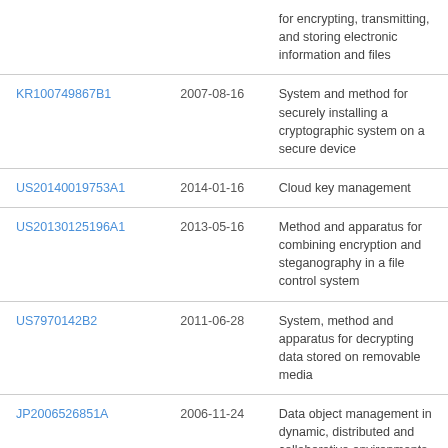| Patent | Date | Description |
| --- | --- | --- |
|  |  | for encrypting, transmitting, and storing electronic information and files |
| KR100749867B1 | 2007-08-16 | System and method for securely installing a cryptographic system on a secure device |
| US20140019753A1 | 2014-01-16 | Cloud key management |
| US20130125196A1 | 2013-05-16 | Method and apparatus for combining encryption and steganography in a file control system |
| US7970142B2 | 2011-06-28 | System, method and apparatus for decrypting data stored on removable media |
| JP2006526851A | 2006-11-24 | Data object management in dynamic, distributed and collaborative environments |